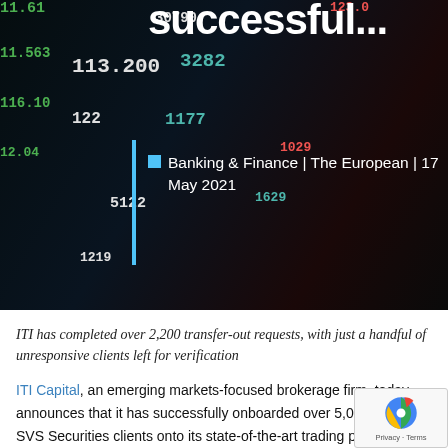[Figure (photo): Dark background with stock market ticker numbers in green, teal, and red colors overlaid. A blue vertical bar is visible. Text 'successful...' appears in large bold white font at the top.]
successful...
Banking & Finance | The European | 17 May 2021
ITI has completed over 2,200 transfer-out requests, with just a handful of unresponsive clients left for verification
ITI Capital, an emerging markets-focused brokerage firm, today announces that it has successfully onboarded over 5,000 former SVS Securities clients onto its state-of-the-art trading platform.
Additionally, over 4,000 clients with minimal balances